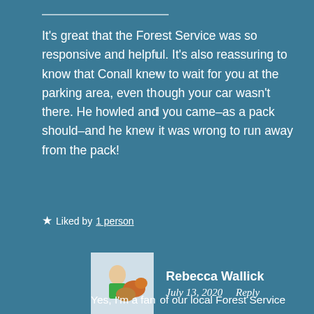It's great that the Forest Service was so responsive and helpful. It's also reassuring to know that Conall knew to wait for you at the parking area, even though your car wasn't there. He howled and you came–as a pack should–and he knew it was wrong to run away from the pack!
★ Liked by 1 person
Rebecca Wallick
July 13, 2020    Reply
Yes, I'm a fan of our local Forest Service